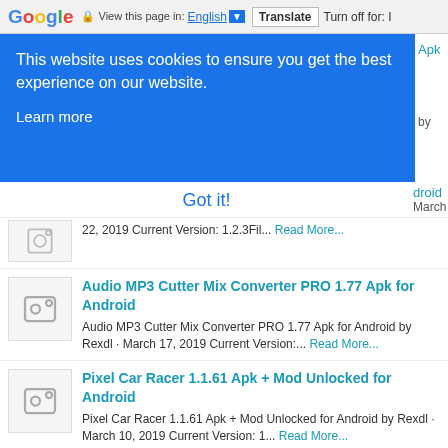Google — View this page in: English [▼] | Translate | Turn off for: I
This website uses cookies to ensure you get the best experience on our website. Learn more
Got it!
22, 2019 Current Version: 1.2.3Fil... Read More...
Audio MP3 Cutter Mix Converter PRO 1.77 Apk for Android
Audio MP3 Cutter Mix Converter PRO 1.77 Apk for Android by Rexdl · March 17, 2019 Current Version:... Read More...
Pixel Car Racer 1.1.61 Apk + Mod Unlocked for Android
Pixel Car Racer 1.1.61 Apk + Mod Unlocked for Android by Rexdl · March 10, 2019 Current Version: 1... Read More...
Gear.Club 1.22.0 Full Apk + Data for Android
Gear.Club 1.22.0 Full Apk + Data for Android by Rexdl · September 25